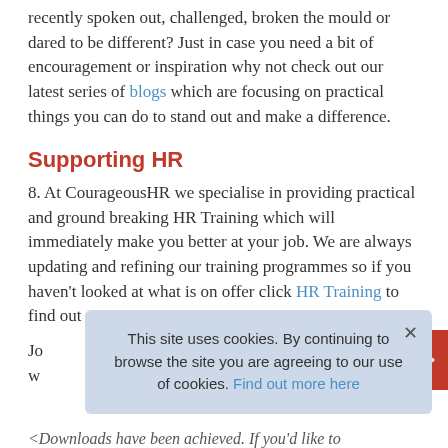recently spoken out, challenged, broken the mould or dared to be different? Just in case you need a bit of encouragement or inspiration why not check out our latest series of blogs which are focusing on practical things you can do to stand out and make a difference.
Supporting HR
8. At CourageousHR we specialise in providing practical and ground breaking HR Training which will immediately make you better at your job. We are always updating and refining our training programmes so if you haven't looked at what is on offer click HR Training to find out more.
Jo... w...
This site uses cookies. By continuing to browse the site you are agreeing to our use of cookies. Find out more here
<Downloads have been achieved. If you'd like to